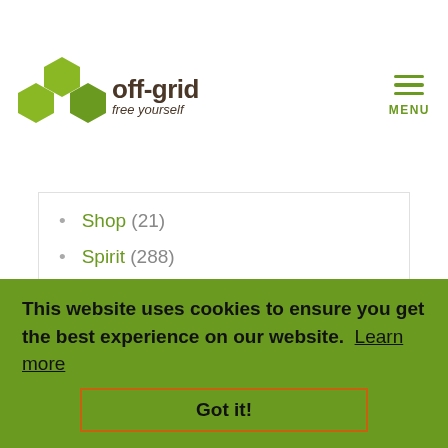[Figure (logo): Off-grid website logo with green hexagonal icons and brand name 'off-grid free yourself']
Shop (21)
Spirit (288)
Urban (147)
Water (164)
Work (70)
STORIES FROM AROUND THE WEB
Hexavalent Chromium Elimination From Wastewater By Integrated Micro-Electrolysis Composites Synthesized From Red Mud And Rice Straw Via A Facile One-Pot Method
This website uses cookies to ensure you get the best experience on our website. Learn more
Got it!